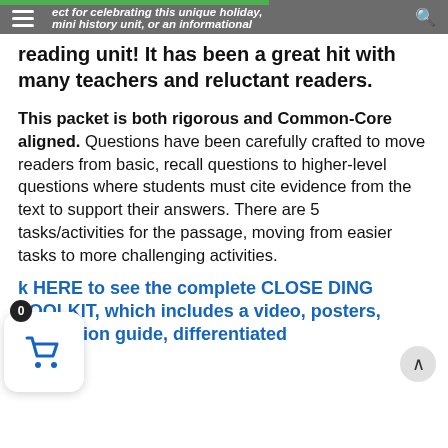ect for celebrating this unique holiday, mini history unit, or an informational
reading unit! It has been a great hit with many teachers and reluctant readers.
This packet is both rigorous and Common-Core aligned. Questions have been carefully crafted to move readers from basic, recall questions to higher-level questions where students must cite evidence from the text to support their answers. There are 5 tasks/activities for the passage, moving from easier tasks to more challenging activities.
k HERE to see the complete CLOSE DING TOOLKIT, which includes a video, posters, annotation guide, differentiated